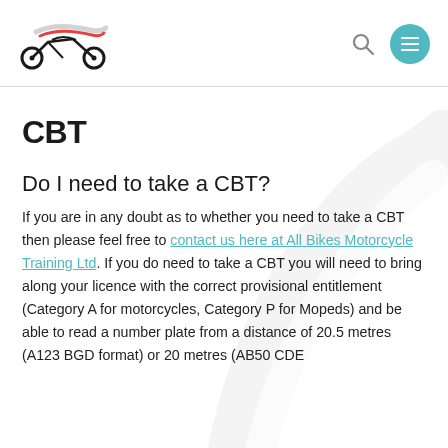[Figure (logo): All Bikes Motorcycle Training Ltd logo — stylized motorcycle silhouette with red and gray swoosh lines above it]
CBT
Do I need to take a CBT?
If you are in any doubt as to whether you need to take a CBT then please feel free to contact us here at All Bikes Motorcycle Training Ltd. If you do need to take a CBT you will need to bring along your licence with the correct provisional entitlement (Category A for motorcycles, Category P for Mopeds) and be able to read a number plate from a distance of 20.5 metres (A123 BGD format) or 20 metres (AB50 CDE